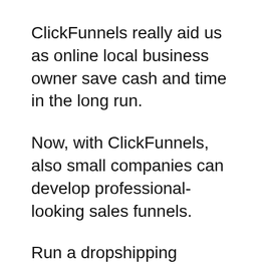ClickFunnels really aid us as online local business owner save cash and time in the long run.
Now, with ClickFunnels, also small companies can develop professional-looking sales funnels.
Run a dropshipping company? You require a sales channel to enhance your conversion rates and also drive more sales.
Market electronic items? You need a sales funnel to boost your conversion prices as well as drive even more sales.